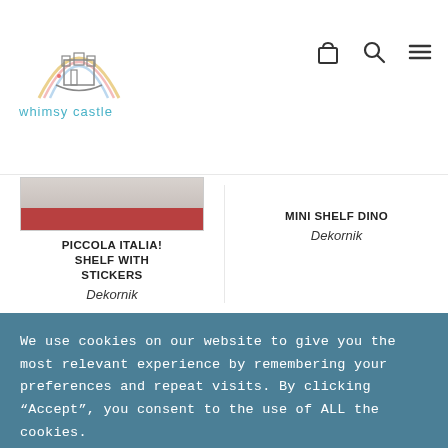[Figure (logo): Whimsy Castle logo with rainbow arch and castle illustration, text 'whimsy castle' in teal below]
PICCOLA ITALIA! SHELF WITH STICKERS
Dekornik
MINI SHELF DINO
Dekornik
We use cookies on our website to give you the most relevant experience by remembering your preferences and repeat visits. By clicking “Accept”, you consent to the use of ALL the cookies.
Cookie settings
ACCEPT ALL